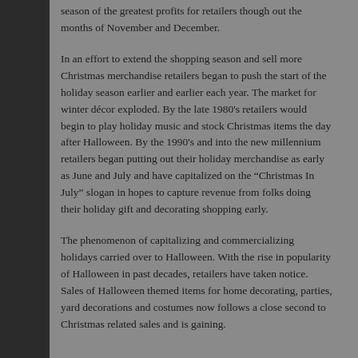season of the greatest profits for retailers though out the months of November and December.
In an effort to extend the shopping season and sell more Christmas merchandise retailers began to push the start of the holiday season earlier and earlier each year. The market for winter décor exploded. By the late 1980's retailers would begin to play holiday music and stock Christmas items the day after Halloween. By the 1990's and into the new millennium retailers began putting out their holiday merchandise as early as June and July and have capitalized on the “Christmas In July” slogan in hopes to capture revenue from folks doing their holiday gift and decorating shopping early.
The phenomenon of capitalizing and commercializing holidays carried over to Halloween. With the rise in popularity of Halloween in past decades, retailers have taken notice. Sales of Halloween themed items for home decorating, parties, yard decorations and costumes now follows a close second to Christmas related sales and is gaining.